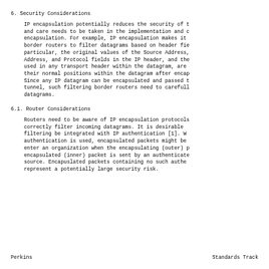6.  Security Considerations
IP encapsulation potentially reduces the security of t
and care needs to be taken in the implementation and c
encapsulation.  For example, IP encapsulation makes it
border routers to filter datagrams based on header fie
particular, the original values of the Source Address,
Address, and Protocol fields in the IP header, and the
used in any transport header within the datagram, are
their normal positions within the datagram after encap
Since any IP datagram can be encapsulated and passed t
tunnel, such filtering border routers need to carefull
datagrams.
6.1.  Router Considerations
Routers need to be aware of IP encapsulation protocols
correctly filter incoming datagrams.  It is desirable
filtering be integrated with IP authentication [1].  W
authentication is used, encapsulated packets might be
enter an organization when the encapsulating (outer) p
encapsulated (inner) packet is sent by an authenticate
source.  Encapuslated packets containing no such authe
represent a potentially large security risk.
Perkins                         Standards Track